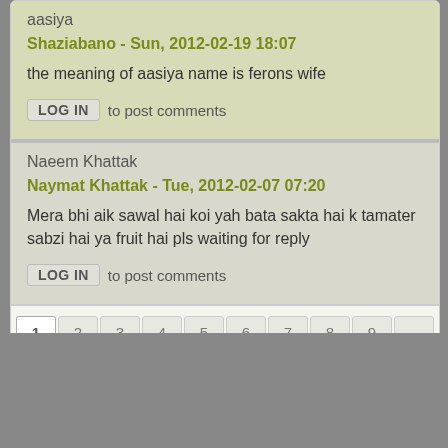aasiya
Shaziabano - Sun, 2012-02-19 18:07
the meaning of aasiya name is ferons wife
LOG IN to post comments
Naeem Khattak
Naymat Khattak - Tue, 2012-02-07 07:20
Mera bhi aik sawal hai koi yah bata sakta hai k tamater sabzi hai ya fruit hai pls waiting for reply
LOG IN to post comments
1 2 3 4 5 6 7 8 9 ... next › last »